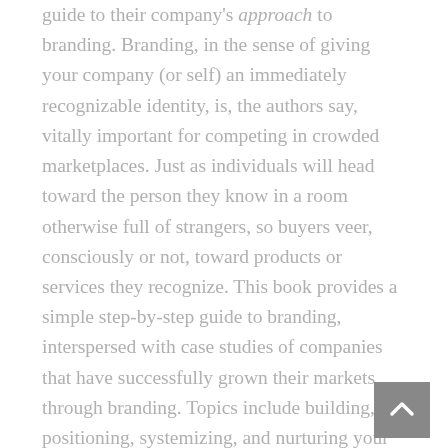guide to their company's approach to branding. Branding, in the sense of giving your company (or self) an immediately recognizable identity, is, the authors say, vitally important for competing in crowded marketplaces. Just as individuals will head toward the person they know in a room otherwise full of strangers, so buyers veer, consciously or not, toward products or services they recognize. This book provides a simple step-by-step guide to branding, interspersed with case studies of companies that have successfully grown their markets through branding. Topics include building, positioning, systemizing, and nurturing your business's identity, along with assessing your competitors' success in doing the same thing. Each chapter includes questions to help you focus your